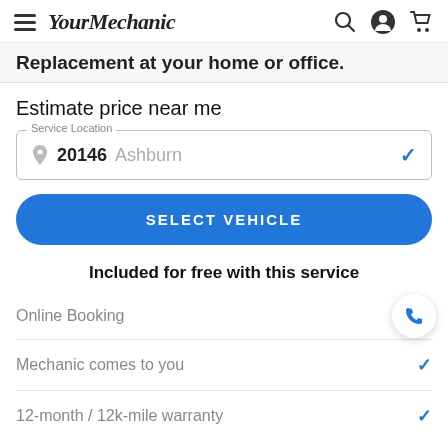YourMechanic
Replacement at your home or office.
Estimate price near me
Service Location: 20146 Ashburn
SELECT VEHICLE
Included for free with this service
Online Booking
Mechanic comes to you
12-month / 12k-mile warranty